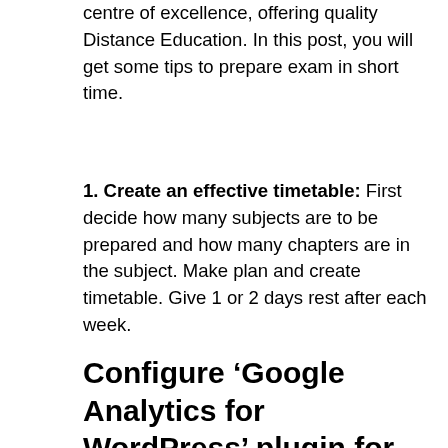Symbiosis Centre for Distance Learning (SCDL) is a centre of excellence, offering quality Distance Education. In this post, you will get some tips to prepare exam in short time.
1. Create an effective timetable: First decide how many subjects are to be prepared and how many chapters are in the subject. Make plan and create timetable. Give 1 or 2 days rest after each week.
Configure ‘Google Analytics for WordPress’ plugin for Subdomain tracking
Yesterday, I created a sub-domain in my site. To configure Google analytics to track content and visitor data for sub-domain, I searched and found following in Google code:
l